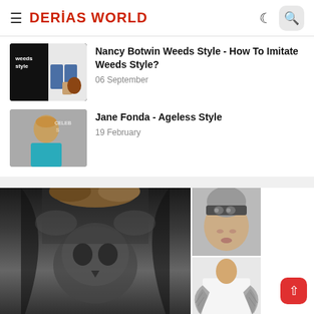DERIAS WORLD
Nancy Botwin Weeds Style - How To Imitate Weeds Style?
06 September
Jane Fonda - Ageless Style
19 February
[Figure (photo): Collage of fashion photos including skull print top, skull headband, and angel wings top]
^